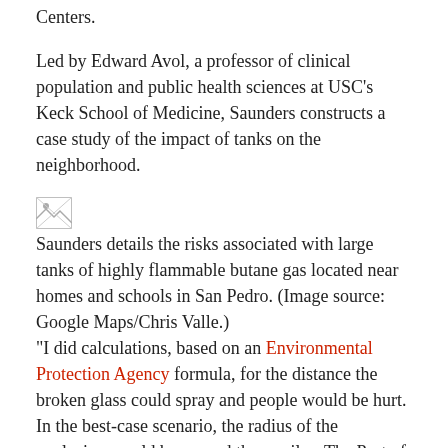Centers.
Led by Edward Avol, a professor of clinical population and public health sciences at USC's Keck School of Medicine, Saunders constructs a case study of the impact of tanks on the neighborhood.
[Figure (photo): Broken/missing image placeholder icon]
Saunders details the risks associated with large tanks of highly flammable butane gas located near homes and schools in San Pedro. (Image source: Google Maps/Chris Valle.)
“I did calculations, based on an Environmental Protection Agency formula, for the distance the broken glass could spray and people would be hurt. In the best-case scenario, the radius of the explosion would be around three miles. The Port of Los Angeles would be damaged,” says Saunders. “Then there is the worst-case scenario. If you look at a maximum impact range, it could be up to about 10 ½ miles.
He is working on a website and infographics that visualize the